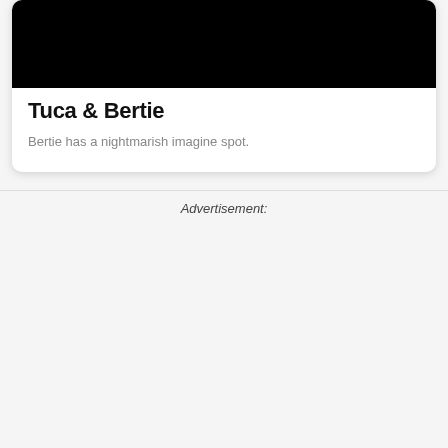[Figure (photo): Black image/thumbnail area at top of card for Tuca & Bertie]
Tuca & Bertie
Bertie has a nightmarish imagine spot.
Advertisement: